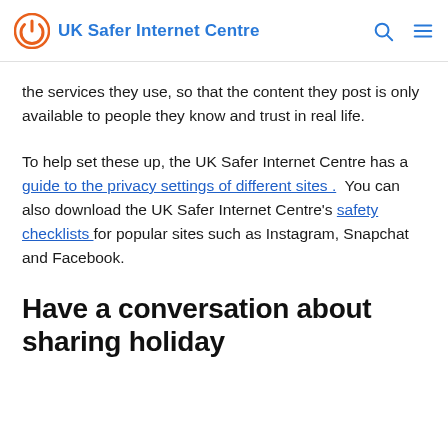UK Safer Internet Centre
the services they use, so that the content they post is only available to people they know and trust in real life.
To help set these up, the UK Safer Internet Centre has a guide to the privacy settings of different sites.  You can also download the UK Safer Internet Centre's safety checklists for popular sites such as Instagram, Snapchat and Facebook.
Have a conversation about sharing holiday